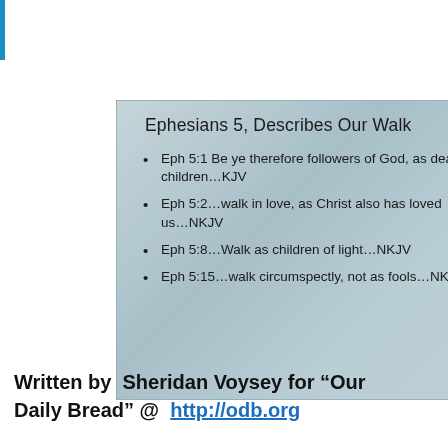[Figure (other): Presentation slide with blue-gray gradient background titled 'Ephesians 5, Describes Our Walk' with four bullet points of scripture references]
Written by  Sheridan Voysey for “Our Daily Bread” @  http://odb.org